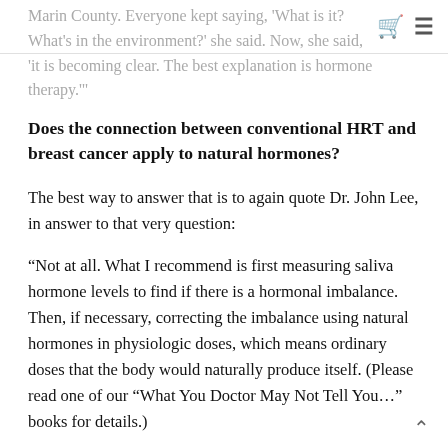Marin County. Everyone kept saying, 'What is it? What's in the environment?' she said. Now, she said, 'it is becoming clear. The best explanation is hormone therapy.'"
Does the connection between conventional HRT and breast cancer apply to natural hormones?
The best way to answer that is to again quote Dr. John Lee, in answer to that very question:
“Not at all. What I recommend is first measuring saliva hormone levels to find if there is a hormonal imbalance. Then, if necessary, correcting the imbalance using natural hormones in physiologic doses, which means ordinary doses that the body would naturally produce itself. (Please read one of our “What You Doctor May Not Tell You…” books for details.)
Another way to look at this is, from puberty until menopause, a healthy woman’s body is making its own natural hormones